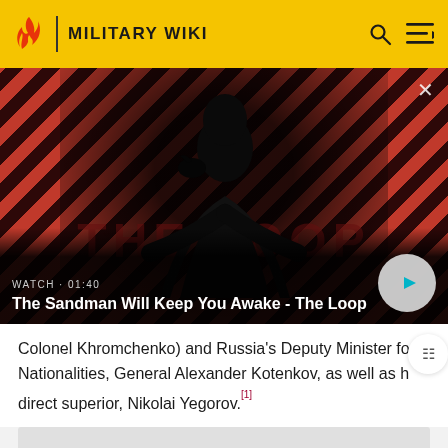MILITARY WIKI
[Figure (screenshot): Video thumbnail showing a dark-cloaked figure with a bird on shoulder against a red and black diagonal striped background. Title reads: The Sandman Will Keep You Awake - The Loop. Watch time 01:40.]
Colonel Khromchenko) and Russia's Deputy Minister for Nationalities, General Alexander Kotenkov, as well as his direct superior, Nikolai Yegorov.[1]